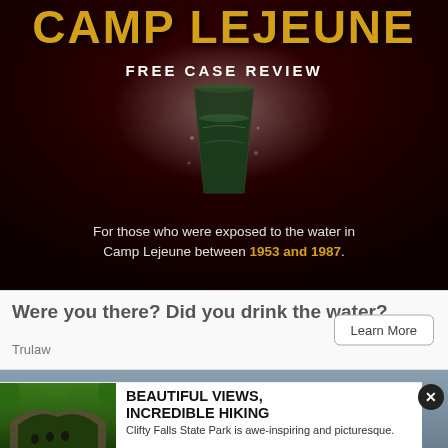[Figure (photo): Dark red advertisement for Camp Lejeune legal services featuring a glass of dirty water. Large yellow text reads 'CAMP LEJEUNE' at top. White bold text 'FREE CASE REVIEW' below. Body text reads 'For those who were exposed to the water in Camp Lejeune between 1953 and 1987.']
Were you there? Did you drink the water?
Trulaw
Learn More
[Figure (photo): Gray-blue sky background banner ad, partially visible]
[Figure (photo): Clifty Falls State Park hiking advertisement. Left side shows photo of hikers under a stone bridge in lush green forest. Right side has bold black text 'BEAUTIFUL VIEWS, INCREDIBLE HIKING' and body text 'Clifty Falls State Park is awe-inspiring and picturesque.' Close button (X) in top right.]